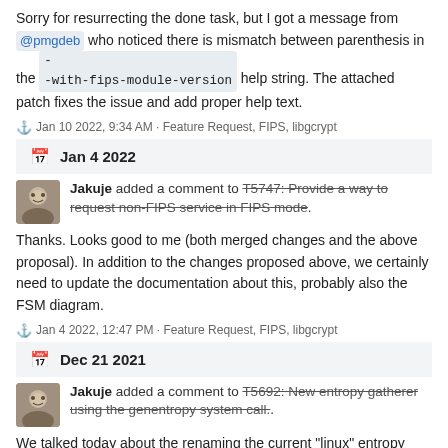Sorry for resurrecting the done task, but I got a message from @pmgdeb who noticed there is mismatch between parenthesis in the --with-fips-module-version help string. The attached patch fixes the issue and add proper help text.
Jan 10 2022, 9:34 AM · Feature Request, FIPS, libgcrypt
Jan 4 2022
Jakuje added a comment to T5747: Provide a way to request non-FIPS service in FIPS mode.
Thanks. Looks good to me (both merged changes and the above proposal). In addition to the changes proposed above, we certainly need to update the documentation about this, probably also the FSM diagram.
Jan 4 2022, 12:47 PM · Feature Request, FIPS, libgcrypt
Dec 21 2021
Jakuje added a comment to T5692: New entropy gatherer using the genentropy system call..
We talked today about the renaming the current "linux" entropy module